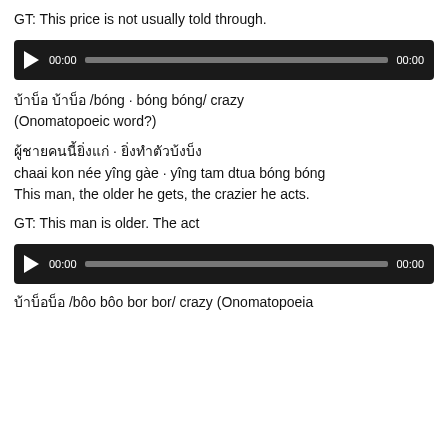GT: This price is not usually told through.
[Figure (screenshot): Audio player with play button, 00:00 timestamp, progress bar, and 00:00 end time on dark background]
บ้าบ๊อ บ้าบ๊อ /bóng · bóng bóng/ crazy (Onomatopoeic word?)
ผู้ชายคนนี้ยิ่งแก่ · ยิ่งทำตัวบ้งบ้ง
chaai kon née yîng gàe · yîng tam dtua bóng bóng
This man, the older he gets, the crazier he acts.
GT: This man is older. The act
[Figure (screenshot): Audio player with play button, 00:00 timestamp, progress bar, and 00:00 end time on dark background]
บ้าบ๊อบ๊อ /bôo bôo bor bor/ crazy (Onomatopoeia